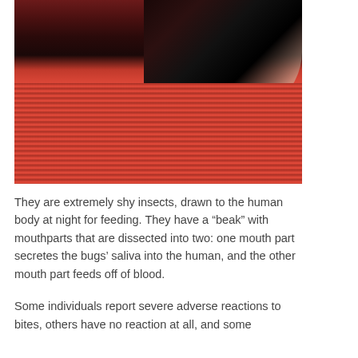[Figure (photo): Close-up photo showing a person's arm/body near a red textured towel or fabric, dark background with a black garment visible]
They are extremely shy insects, drawn to the human body at night for feeding. They have a “beak” with mouthparts that are dissected into two: one mouth part secretes the bugs’ saliva into the human, and the other mouth part feeds off of blood.
Some individuals report severe adverse reactions to bites, others have no reaction at all, and some